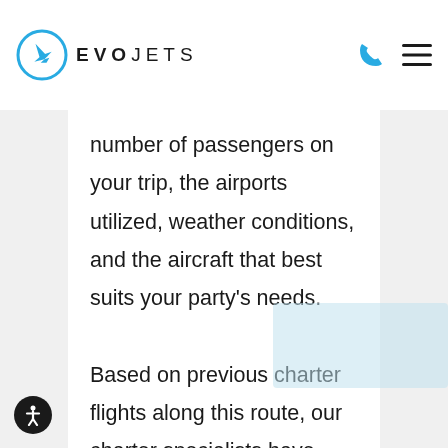EVOJETS
number of passengers on your trip, the airports utilized, weather conditions, and the aircraft that best suits your party's needs.

Based on previous charter flights along this route, our charter specialists have compiled a list of estimates for private jets from IAH to XNA below. To request a formal quote for your private charter flight between Fayetteville and Houston,